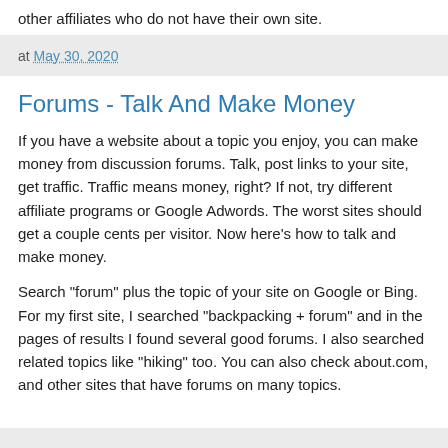other affiliates who do not have their own site.
at May 30, 2020
Forums - Talk And Make Money
If you have a website about a topic you enjoy, you can make money from discussion forums. Talk, post links to your site, get traffic. Traffic means money, right? If not, try different affiliate programs or Google Adwords. The worst sites should get a couple cents per visitor. Now here's how to talk and make money.
Search "forum" plus the topic of your site on Google or Bing. For my first site, I searched "backpacking + forum" and in the pages of results I found several good forums. I also searched related topics like "hiking" too. You can also check about.com, and other sites that have forums on many topics.